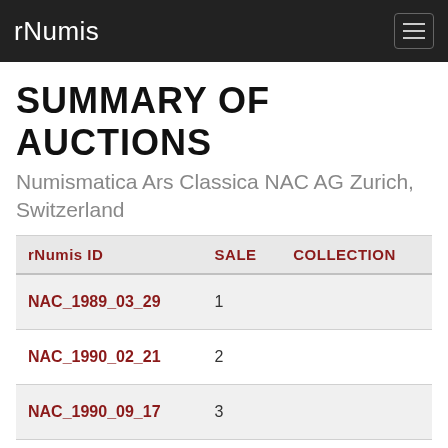rNumis
SUMMARY OF AUCTIONS
Numismatica Ars Classica NAC AG Zurich, Switzerland
| rNumis ID | SALE | COLLECTION |
| --- | --- | --- |
| NAC_1989_03_29 | 1 |  |
| NAC_1990_02_21 | 2 |  |
| NAC_1990_09_17 | 3 |  |